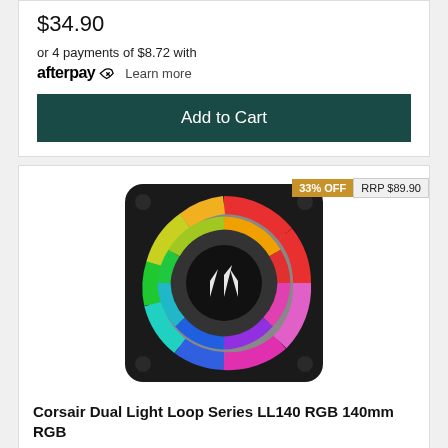$34.90
or 4 payments of $8.72 with afterpay Learn more
Add to Cart
33% OFF  RRP $89.90
[Figure (photo): Corsair RGB case fan with dual light loop, showing colorful LED ring illumination in red, green, blue, yellow and magenta. Black frame with Corsair logo in center.]
Corsair Dual Light Loop Series LL140 RGB 140mm RGB